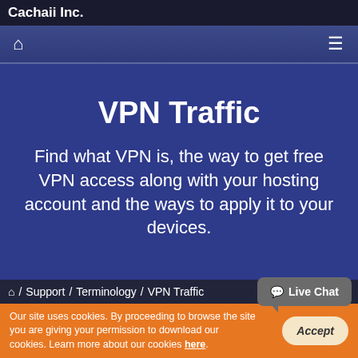Cachaii Inc.
VPN Traffic
Find what VPN is, the way to get free VPN access along with your hosting account and the ways to apply it to your devices.
Home / Support / Terminology / VPN Traffic
Our site uses cookies. By proceeding to browse the site you are giving your permission to download our cookies. Learn more about our cookies here.